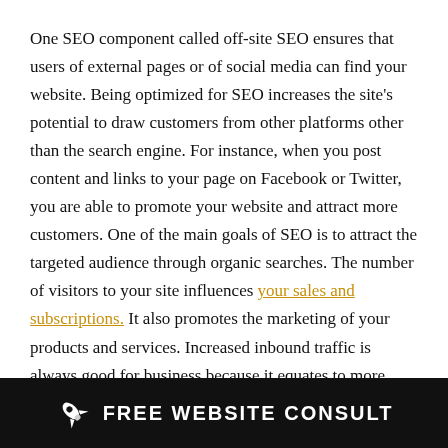One SEO component called off-site SEO ensures that users of external pages or of social media can find your website. Being optimized for SEO increases the site's potential to draw customers from other platforms other than the search engine. For instance, when you post content and links to your page on Facebook or Twitter, you are able to promote your website and attract more customers. One of the main goals of SEO is to attract the targeted audience through organic searches. The number of visitors to your site influences your sales and subscriptions. It also promotes the marketing of your products and services. Increased inbound traffic is always good for business because it equates to more
FREE WEBSITE CONSULT